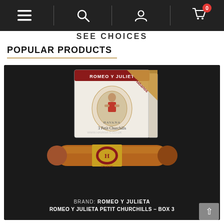Navigation bar with menu, search, user, and cart icons
SEE CHOICES
POPULAR PRODUCTS
[Figure (photo): Romeo y Julieta Petit Churchills box of 3 cigars product image, showing a white cigar box with Romeo y Julieta branding and Habanos logo, with a single cigar in front displaying the brand band.]
BRAND: ROMEO Y JULIETA
ROMEO Y JULIETA PETIT CHURCHILLS – BOX 3